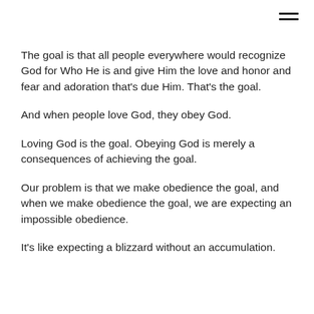The goal is that all people everywhere would recognize God for Who He is and give Him the love and honor and fear and adoration that's due Him. That's the goal.
And when people love God, they obey God.
Loving God is the goal. Obeying God is merely a consequences of achieving the goal.
Our problem is that we make obedience the goal, and when we make obedience the goal, we are expecting an impossible obedience.
It's like expecting a blizzard without an accumulation.